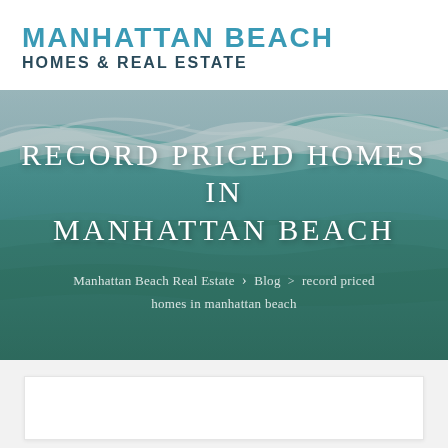MANHATTAN BEACH HOMES & REAL ESTATE
RECORD PRICED HOMES IN MANHATTAN BEACH
Manhattan Beach Real Estate > Blog > record priced homes in manhattan beach
[Figure (photo): Aerial ocean wave photo used as hero background image]